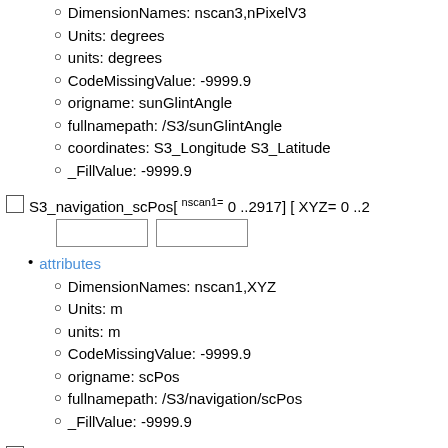DimensionNames: nscan3,nPixelV3
Units: degrees
units: degrees
CodeMissingValue: -9999.9
origname: sunGlintAngle
fullnamepath: /S3/sunGlintAngle
coordinates: S3_Longitude S3_Latitude
_FillValue: -9999.9
S3_navigation_scPos[ nscan1= 0 ..2917] [ XYZ= 0 ..2
attributes
DimensionNames: nscan1,XYZ
Units: m
units: m
CodeMissingValue: -9999.9
origname: scPos
fullnamepath: /S3/navigation/scPos
_FillValue: -9999.9
S3_navigation_timeMidScanOffset[ nscan1= 0 ..2917
attributes